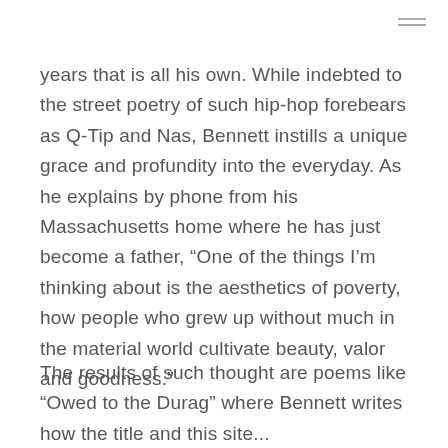years that is all his own. While indebted to the street poetry of such hip-hop forebears as Q-Tip and Nas, Bennett instills a unique grace and profundity into the everyday. As he explains by phone from his Massachusetts home where he has just become a father, “One of the things I’m thinking about is the aesthetics of poverty, how people who grew up without much in the material world cultivate beauty, valor and goodness.”
The results of such thought are poems like “Owed to the Durag” where Bennett writes how the title and this site...